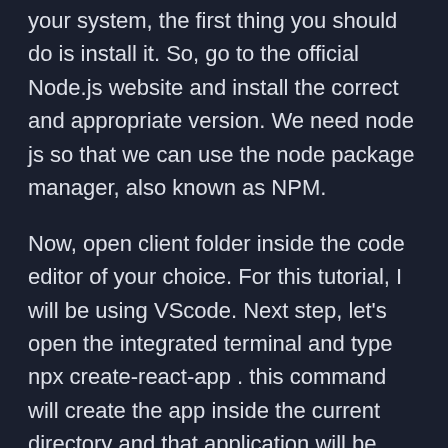your system, the first thing you should do is install it. So, go to the official Node.js website and install the correct and appropriate version. We need node js so that we can use the node package manager, also known as NPM.
Now, open client folder inside the code editor of your choice. For this tutorial, I will be using VScode. Next step, let's open the integrated terminal and type npx create-react-app . this command will create the app inside the current directory and that application will be named as client
[Figure (screenshot): Broken image placeholder with label 'npx']